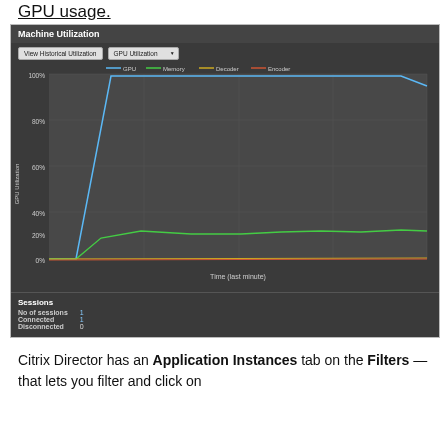GPU usage.
[Figure (screenshot): Machine Utilization dashboard screenshot showing a line chart of GPU Utilization over time (last minute). The GPU line (blue) rises sharply to ~100% and stays near 100%. Memory line (green) stays around 20%. Decoder (yellow) and Encoder (red/orange) lines remain near 0%. Sessions section shows: No of sessions 1, Connected 1, Disconnected 0.]
Citrix Director has an Application Instances tab on the Filters — that lets you filter and click on...